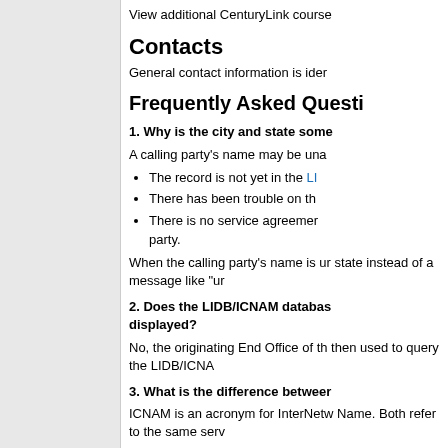View additional CenturyLink course
Contacts
General contact information is ider
Frequently Asked Questi
1. Why is the city and state some
A calling party's name may be una
The record is not yet in the LI
There has been trouble on th
There is no service agreemer party.
When the calling party's name is ur state instead of a message like "ur
2. Does the LIDB/ICNAM databas displayed?
No, the originating End Office of th then used to query the LIDB/ICNA
3. What is the difference betweer
ICNAM is an acronym for InterNetw Name. Both refer to the same serv
Last Update: January 20, 2017